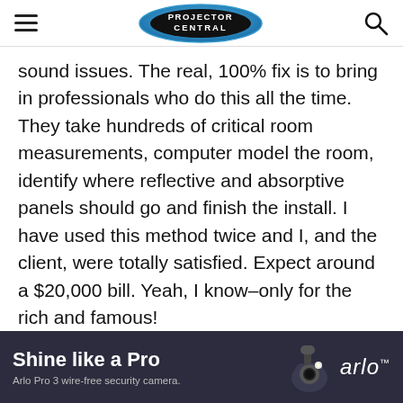PROJECTOR CENTRAL
sound issues. The real, 100% fix is to bring in professionals who do this all the time. They take hundreds of critical room measurements, computer model the room, identify where reflective and absorptive panels should go and finish the install. I have used this method twice and I, and the client, were totally satisfied. Expect around a $20,000 bill. Yeah, I know–only for the rich and famous!
[Figure (photo): Arlo Pro 3 wire-free security camera advertisement banner with dark background, camera image, headline 'Shine like a Pro', subline 'Arlo Pro 3 wire-free security camera.' and Arlo logo]